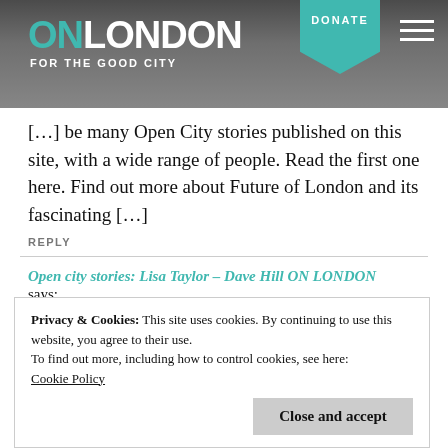ON LONDON FOR THE GOOD CITY | DONATE
[…] be many Open City stories published on this site, with a wide range of people. Read the first one here. Find out more about Future of London and its fascinating […]
REPLY
Open city stories: Lisa Taylor – Dave Hill ON LONDON says:
1st January 1970 at 12:00 am
Privacy & Cookies: This site uses cookies. By continuing to use this website, you agree to their use. To find out more, including how to control cookies, see here: Cookie Policy
Close and accept